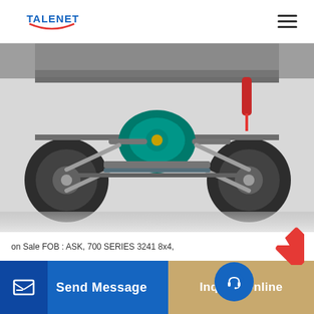TALENET
[Figure (photo): Underside view of a truck chassis showing axles, suspension components, driveshaft, and wheels. A teal-colored gearbox/differential is visible in the center. The vehicle is photographed from below on a white background.]
on Sale FOB : ASK, 700 SERIES 3241 8x4,
Send Message
Inquiry Online